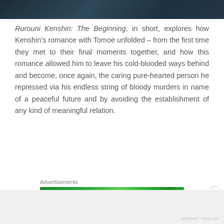[Figure (photo): Dark cinematic still from Rurouni Kenshin: The Beginning, showing figures in a dim blue-teal setting, partially cropped at top of page]
Rurouni Kenshin: The Beginning, in short, explores how Kenshin's romance with Tomoe unfolded – from the first time they met to their final moments together, and how this romance allowed him to leave his cold-blooded ways behind and become, once again, the caring pure-hearted person he repressed via his endless string of bloody murders in name of a peaceful future and by avoiding the establishment of any kind of meaningful relation.
Advertisements
[Figure (other): Green advertisement banner with dot pattern overlay]
Advertisements